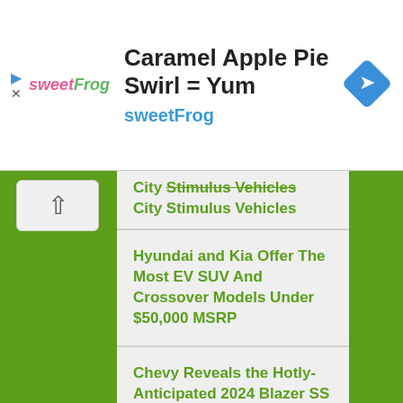[Figure (screenshot): SweetFrog advertisement banner with logo, 'Caramel Apple Pie Swirl = Yum' headline, and navigation diamond icon]
City Stimulus Vehicles (truncated)
Hyundai and Kia Offer The Most EV SUV And Crossover Models Under $50,000 MSRP
Chevy Reveals the Hotly-Anticipated 2024 Blazer SS EV
Chevrolet Express, GMC Savana To Be Electrified In 2026, End Of An Era
Chevrolet Giving Rebate Checks To Some Bolt Owners
Chevrolet to Start Street Testing of 2024 Silverado EV This Month